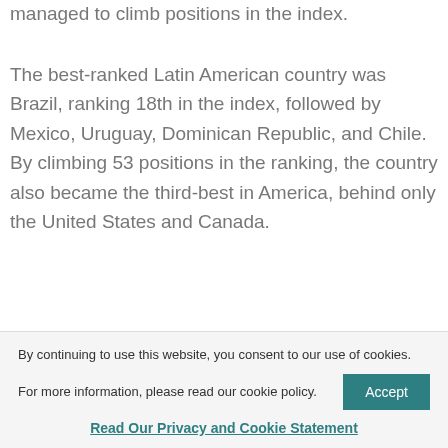cybersecurity, most Latin American countries managed to climb positions in the index.
The best-ranked Latin American country was Brazil, ranking 18th in the index, followed by Mexico, Uruguay, Dominican Republic, and Chile. By climbing 53 positions in the ranking, the country also became the third-best in America, behind only the United States and Canada.
By continuing to use this website, you consent to our use of cookies.
For more information, please read our cookie policy.
Accept
Read Our Privacy and Cookie Statement